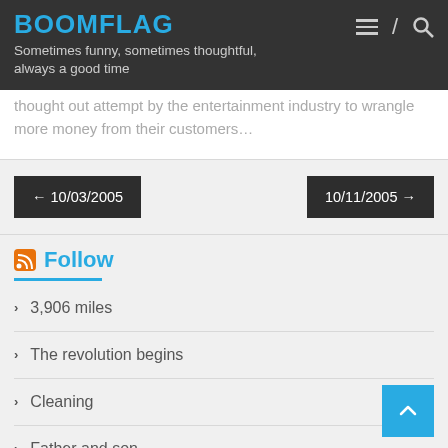BOOMFLAG
Sometimes funny, sometimes thoughtful, always a good time
thought out attempt by the entertainment industry to wrangle more money from their customers...
← 10/03/2005
10/11/2005 →
Follow
3,906 miles
The revolution begins
Cleaning
Father and son